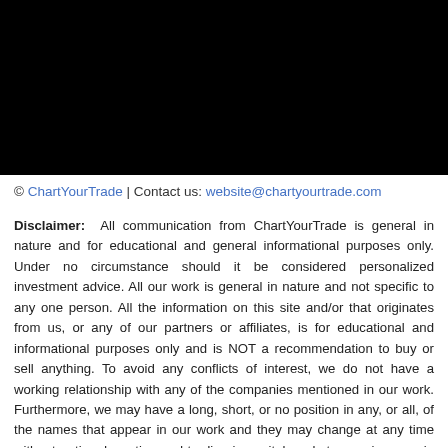© ChartYourTrade | Contact us: website@chartyourtrade.com
Disclaimer: All communication from ChartYourTrade is general in nature and for educational and general informational purposes only. Under no circumstance should it be considered personalized investment advice. All our work is general in nature and not specific to any one person. All the information on this site and/or that originates from us, or any of our partners or affiliates, is for educational and informational purposes only and is NOT a recommendation to buy or sell anything. To avoid any conflicts of interest, we do not have a working relationship with any of the companies mentioned in our work. Furthermore, we may have a long, short, or no position in any, or all, of the names that appear in our work and they may change at any time without notice. Investing and trading in capital markets or using margin carries a high level of risk and may not be suitable for all investors. Leverage can work against